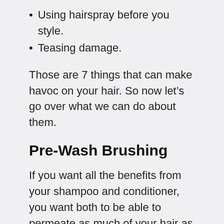Using hairspray before you style.
Teasing damage.
Those are 7 things that can make havoc on your hair. So now let’s go over what we can do about them.
Pre-Wash Brushing
If you want all the benefits from your shampoo and conditioner, you want both to be able to permeate as much of your hair as it can. The best way to do that is to make sure you brush your hair thoroughly from root to end before washing and